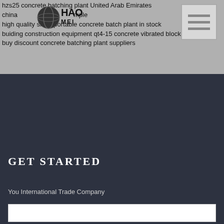hzs25 concrete batching plant United Arab Emirates
china [logo] mple
high quality small portable concrete batch plant in stock
buiding construction equipment qt4-15 concrete vibrated block machine
buy discount concrete batching plant suppliers
[Figure (logo): HAOMEI logo with globe icon]
[Figure (other): Hamburger menu button icon]
GET STARTED
You International Trade Company
CATEGORIES
INQUIRY
[Figure (other): TOP back-to-top button with dots forming triangle]